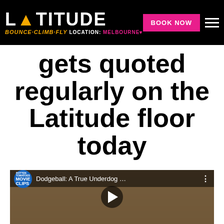[Figure (screenshot): Latitude trampoline park website header with logo, BOOK NOW button, hamburger menu, and BOUNCE·CLIMB·FLY tagline with MELBOURNE location]
gets quoted regularly on the Latitude floor today
[Figure (screenshot): YouTube video thumbnail for 'Dodgeball: A True Underdog...' from Rotten Tomatoes Movie Clips channel, showing a man with long hair mid-speech, with play button overlay]